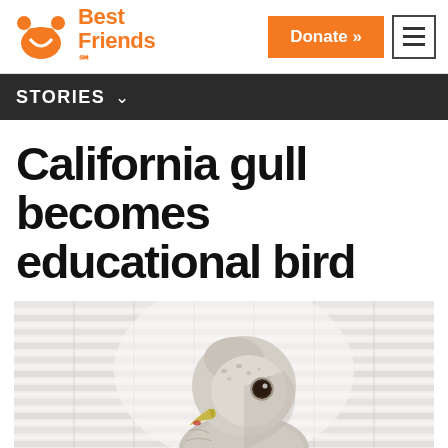Best Friends — Donate » [menu]
STORIES ∨
California gull becomes educational bird
[Figure (photo): Close-up photo of a California gull (juvenile/immature plumage), with speckled gray-brown and white feathers, a yellowish beak, and a dark eye. The background shows white horizontal venetian blind slats, slightly blurred.]